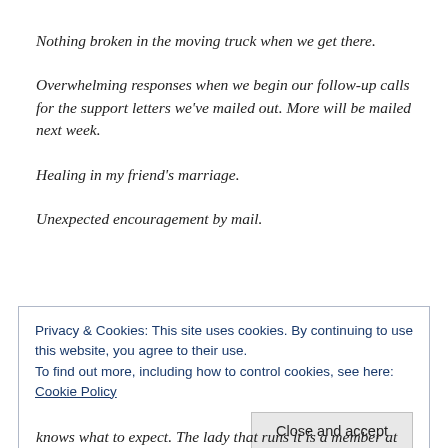Nothing broken in the moving truck when we get there.
Overwhelming responses when we begin our follow-up calls for the support letters we've mailed out. More will be mailed next week.
Healing in my friend's marriage.
Unexpected encouragement by mail.
Privacy & Cookies: This site uses cookies. By continuing to use this website, you agree to their use.
To find out more, including how to control cookies, see here: Cookie Policy
knows what to expect. The lady that runs it is a member at